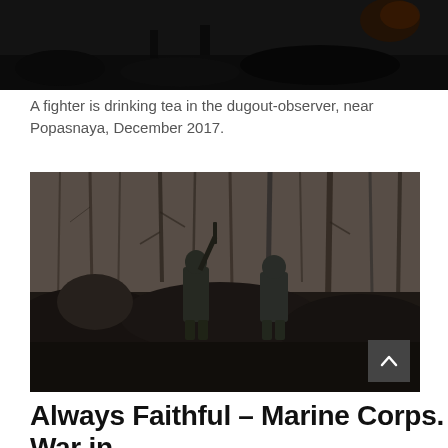[Figure (photo): Top portion of a dark photo showing a fighter drinking tea in a dugout-observer near Popasnaya, December 2017. Dark, moody military setting.]
A fighter is drinking tea in the dugout-observer, near Popasnaya, December 2017.
[Figure (photo): Two soldiers in camouflage uniforms walking through a bare winter forest landscape with dark earthen terrain. One soldier carries a rifle. A scroll-up button is visible in the lower right corner.]
Always Faithful – Marine Corps. War in